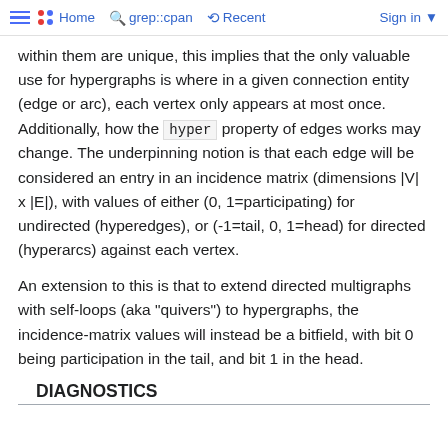≡  Home  grep::cpan  Recent  Sign in
within them are unique, this implies that the only valuable use for hypergraphs is where in a given connection entity (edge or arc), each vertex only appears at most once. Additionally, how the hyper property of edges works may change. The underpinning notion is that each edge will be considered an entry in an incidence matrix (dimensions |V| x |E|), with values of either (0, 1=participating) for undirected (hyperedges), or (-1=tail, 0, 1=head) for directed (hyperarcs) against each vertex.
An extension to this is that to extend directed multigraphs with self-loops (aka "quivers") to hypergraphs, the incidence-matrix values will instead be a bitfield, with bit 0 being participation in the tail, and bit 1 in the head.
DIAGNOSTICS